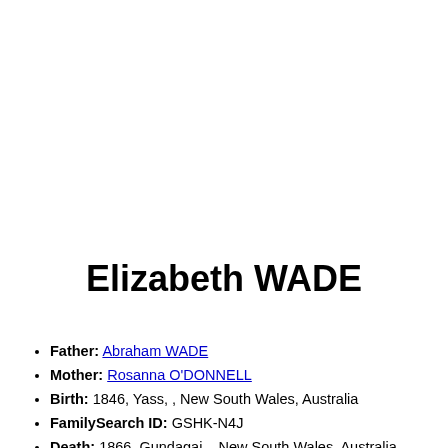Elizabeth WADE
Father: Abraham WADE
Mother: Rosanna O'DONNELL
Birth: 1846, Yass, , New South Wales, Australia
FamilySearch ID: GSHK-N4J
Death: 1866, Gundagai, , New South Wales, Australia